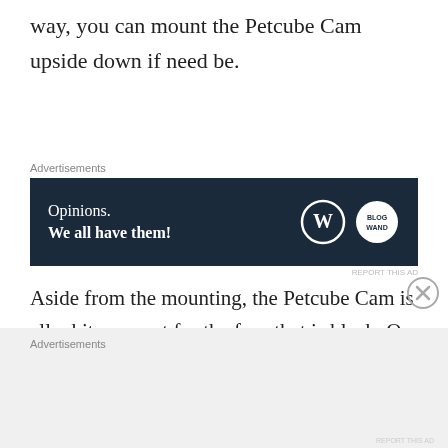way, you can mount the Petcube Cam upside down if need be.
[Figure (screenshot): Advertisement banner with dark navy background showing 'Opinions. We all have them!' with WordPress and WooCommerce logos]
Aside from the mounting, the Petcube Cam is all white, except for the face that is black. On the rear, you’ll find the USB-C power port which means that this product too must be powered by an outlet. You’ll need to place this close to an
Advertisements
REPORT THIS AD